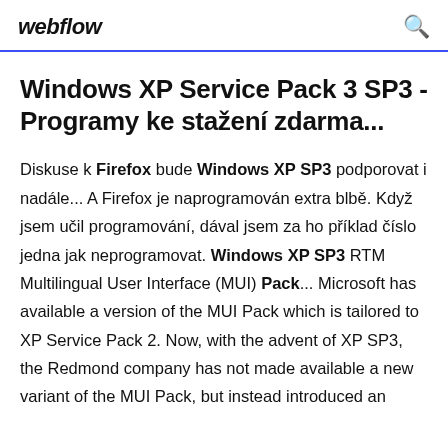webflow
Windows XP Service Pack 3 SP3 - Programy ke stažení zdarma...
Diskuse k Firefox bude Windows XP SP3 podporovat i nadále... A Firefox je naprogramován extra blbě. Když jsem učil programování, dával jsem za ho příklad číslo jedna jak neprogramovat. Windows XP SP3 RTM Multilingual User Interface (MUI) Pack... Microsoft has available a version of the MUI Pack which is tailored to XP Service Pack 2. Now, with the advent of XP SP3, the Redmond company has not made available a new variant of the MUI Pack, but instead introduced an